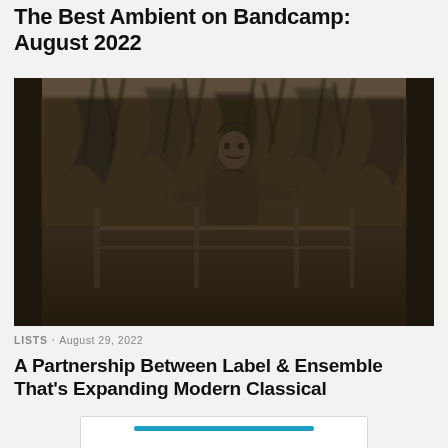The Best Ambient on Bandcamp: August 2022
[Figure (photo): Black and white sepia-toned photograph of a young man with arms crossed standing in front of a metal fence with wild vegetation in the background. The image has a moody, atmospheric quality.]
LISTS · August 29, 2022
A Partnership Between Label & Ensemble That's Expanding Modern Classical
[Figure (screenshot): Partial view of a card element with a blue bar, likely a media player or link card, partially visible at the bottom of the page.]